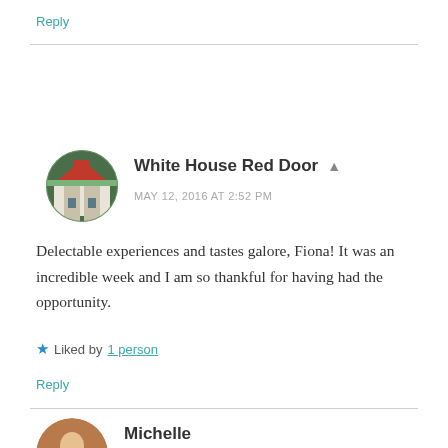Reply
White House Red Door
MAY 12, 2016 AT 2:52 PM
Delectable experiences and tastes galore, Fiona! It was an incredible week and I am so thankful for having had the opportunity.
★ Liked by 1 person
Reply
Michelle
MAY 12, 2016 AT 9:59 PM